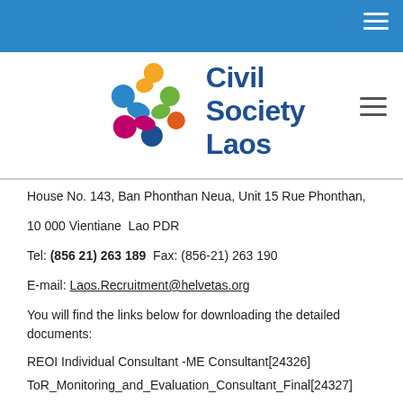Civil Society Laos
[Figure (logo): Civil Society Laos logo with colorful interconnected circles and text]
House No. 143, Ban Phonthan Neua, Unit 15 Rue Phonthan,
10 000 Vientiane  Lao PDR
Tel: (856 21) 263 189  Fax: (856-21) 263 190
E-mail: Laos.Recruitment@helvetas.org
You will find the links below for downloading the detailed documents:
REOI Individual Consultant -ME Consultant[24326]
ToR_Monitoring_and_Evaluation_Consultant_Final[24327]